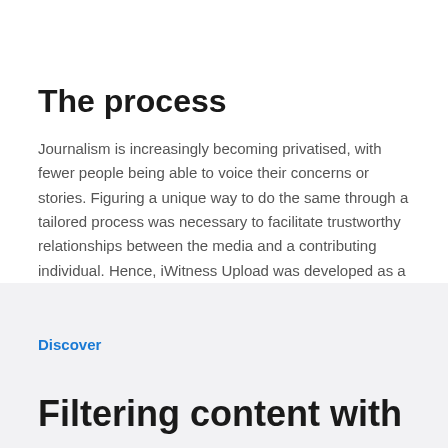The process
Journalism is increasingly becoming privatised, with fewer people being able to voice their concerns or stories. Figuring a unique way to do the same through a tailored process was necessary to facilitate trustworthy relationships between the media and a contributing individual. Hence, iWitness Upload was developed as a way to create media leads via photographs or videos, turning a regular witness into a legitimate contributor.
Discover
Filtering content with